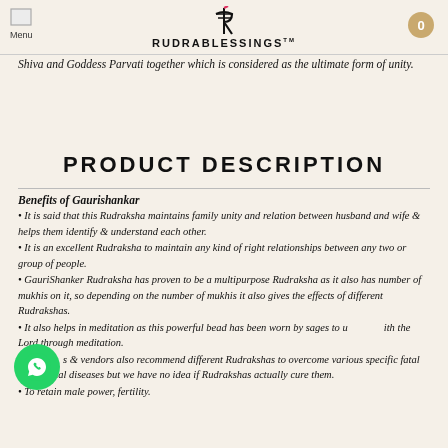RUDRABLESSINGS
Shiva and Goddess Parvati together which is considered as the ultimate form of unity.
PRODUCT DESCRIPTION
Benefits of Gaurishankar
• It is said that this Rudraksha maintains family unity and relation between husband and wife & helps them identify & understand each other.
• It is an excellent Rudraksha to maintain any kind of right relationships between any two or group of people.
• GauriShanker Rudraksha has proven to be a multipurpose Rudraksha as it also has number of mukhis on it, so depending on the number of mukhis it also gives the effects of different Rudrakshas.
• It also helps in meditation as this powerful bead has been worn by sages to unite with the Lord through meditation.
• Many saints & vendors also recommend different Rudrakshas to overcome various specific fatal & non fatal diseases but we have no idea if Rudrakshas actually cure them.
• To retain male power, fertility.